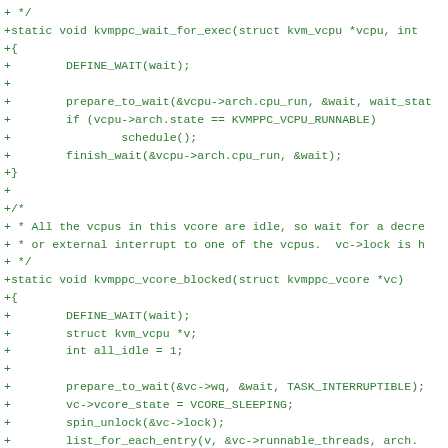+ */
+static void kvmppc_wait_for_exec(struct kvm_vcpu *vcpu, int
+{
+        DEFINE_WAIT(wait);
+
+        prepare_to_wait(&vcpu->arch.cpu_run, &wait, wait_stat
+        if (vcpu->arch.state == KVMPPC_VCPU_RUNNABLE)
+                schedule();
+        finish_wait(&vcpu->arch.cpu_run, &wait);
+}
+
+/*
+ * All the vcpus in this vcore are idle, so wait for a decre
+ * or external interrupt to one of the vcpus.  vc->lock is h
+ */
+static void kvmppc_vcore_blocked(struct kvmppc_vcore *vc)
+{
+        DEFINE_WAIT(wait);
+        struct kvm_vcpu *v;
+        int all_idle = 1;
+
+        prepare_to_wait(&vc->wq, &wait, TASK_INTERRUPTIBLE);
+        vc->vcore_state = VCORE_SLEEPING;
+        spin_unlock(&vc->lock);
+        list_for_each_entry(v, &vc->runnable_threads, arch.